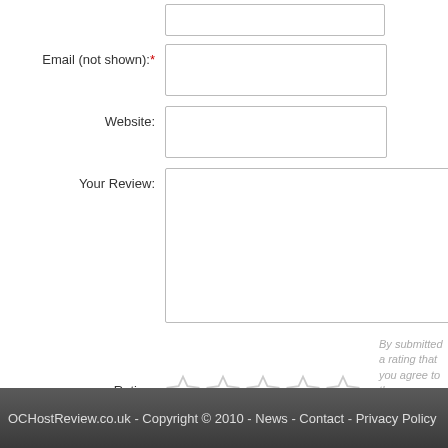Email (not shown):*
Website:
Your Review:
Rating:
By submitted a rating that you agree to the Conditions and Privacy website.
Submit Review
OCHostReview.co.uk - Copyright © 2010 - News - Contact - Privacy Policy